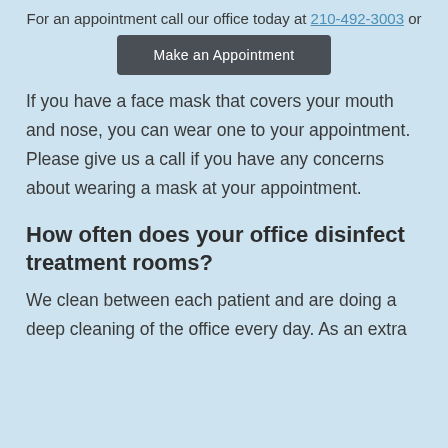For an appointment call our office today at 210-492-3003 or
Make an Appointment
If you have a face mask that covers your mouth and nose, you can wear one to your appointment. Please give us a call if you have any concerns about wearing a mask at your appointment.
How often does your office disinfect treatment rooms?
We clean between each patient and are doing a deep cleaning of the office every day. As an extra